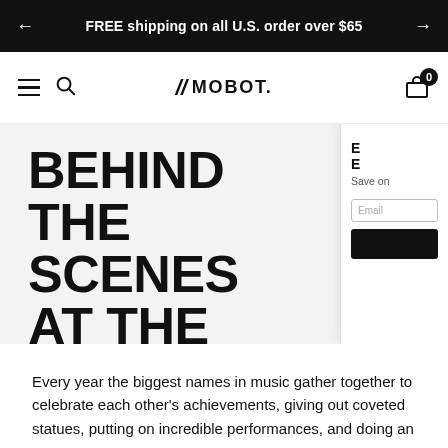FREE shipping on all U.S. order over $65
[Figure (screenshot): MOBOT website navigation bar with hamburger menu, search icon, MOBOT logo centered, and shopping cart icon with badge showing 0]
BEHIND THE SCENES AT THE MTV VMAS
Every year the biggest names in music gather together to celebrate each other's achievements, giving out coveted statues, putting on incredible performances, and doing an